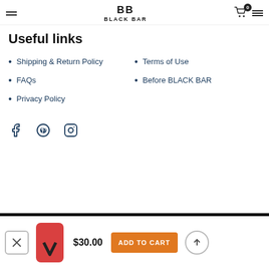BLACK BAR — navigation header with logo, cart (0), and menu icons
Useful links
Shipping & Return Policy
FAQs
Privacy Policy
Terms of Use
Before BLACK BAR
[Figure (infographic): Social media icons: Facebook, Pinterest, Instagram]
[Figure (infographic): Bottom cart bar with close button, product thumbnail (red phone case $30.00), ADD TO CART button, and scroll-to-top button]